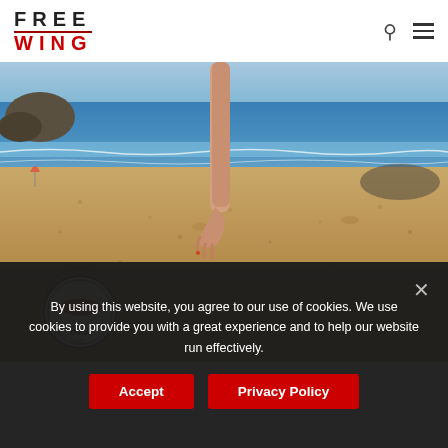FREE WING
[Figure (photo): Beach scene viewed from ground level showing sandy beach, ocean water with waves, rocky outcropping in background, a person's legs and hand reaching down toward sand, and a circular GWA World Tour Wingfoil badge/logo in the lower left corner.]
By using this website, you agree to our use of cookies. We use cookies to provide you with a great experience and to help our website run effectively.
Accept
Privacy Policy